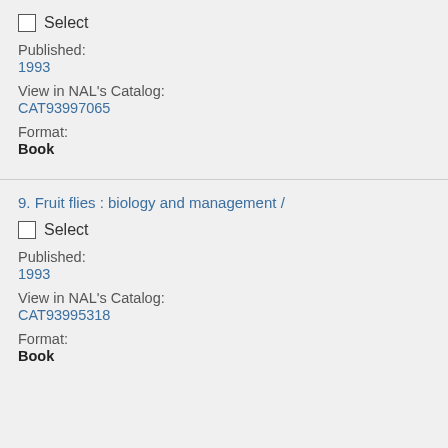Select
Published:
1993
View in NAL's Catalog:
CAT93997065
Format:
Book
9. Fruit flies : biology and management /
Select
Published:
1993
View in NAL's Catalog:
CAT93995318
Format:
Book